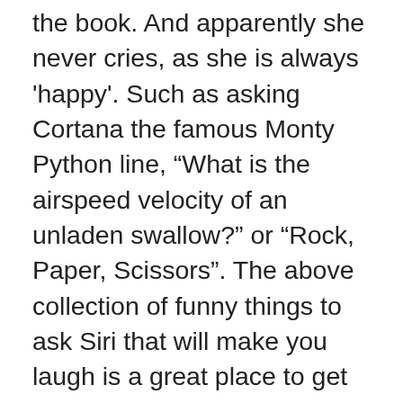the book. And apparently she never cries, as she is always 'happy'. Such as asking Cortana the famous Monty Python line, “What is the airspeed velocity of an unladen swallow?” or “Rock, Paper, Scissors”. The above collection of funny things to ask Siri that will make you laugh is a great place to get started. 19 Things To Ask Siri When You’re Bored. Share Tweet Pin. Feb 14, 2016 at 12:00 GMT 5 years ago. You can see the above picture and see, someone is telling her that he loves her and she just replied with a beautiful romantic poem what also indicates a broke up message. Inspired by this Quora thread. Responses you can uncover things to ask siri to make her mad example, you